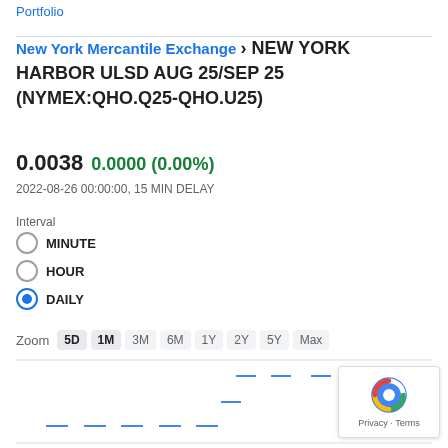Portfolio
New York Mercantile Exchange › NEW YORK HARBOR ULSD AUG 25/SEP 25 (NYMEX:QHO.Q25-QHO.U25)
0.0038 0.0000 (0.00%)
2022-08-26 00:00:00, 15 MIN DELAY
Interval
MINUTE
HOUR
DAILY
Zoom  5D  1M  3M  6M  1Y  2Y  5Y  Max
[Figure (line-chart): Line chart showing price around 0.003 with scattered data points at various levels]